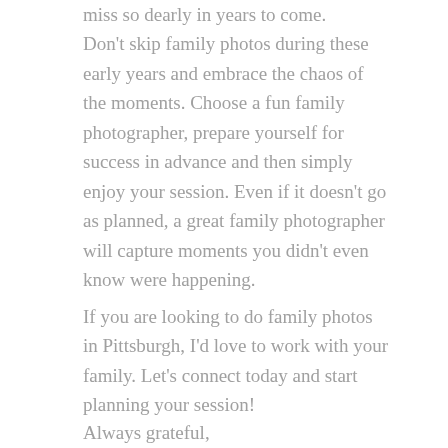miss so dearly in years to come. Don't skip family photos during these early years and embrace the chaos of the moments. Choose a fun family photographer, prepare yourself for success in advance and then simply enjoy your session. Even if it doesn't go as planned, a great family photographer will capture moments you didn't even know were happening.
If you are looking to do family photos in Pittsburgh, I'd love to work with your family. Let's connect today and start planning your session!
Always grateful,